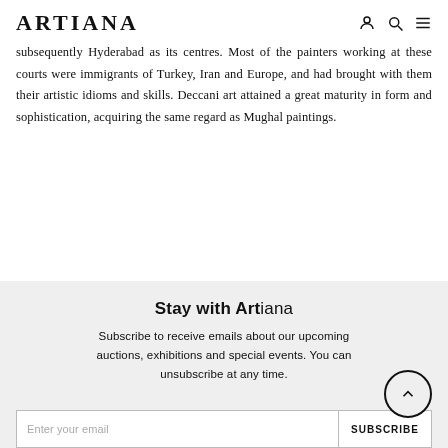ARTIANA
subsequently Hyderabad as its centres. Most of the painters working at these courts were immigrants of Turkey, Iran and Europe, and had brought with them their artistic idioms and skills. Deccani art attained a great maturity in form and sophistication, acquiring the same regard as Mughal paintings.
Stay with Artiana
Subscribe to receive emails about our upcoming auctions, exhibitions and special events. You can unsubscribe at any time.
Enter your email  SUBSCRIBE